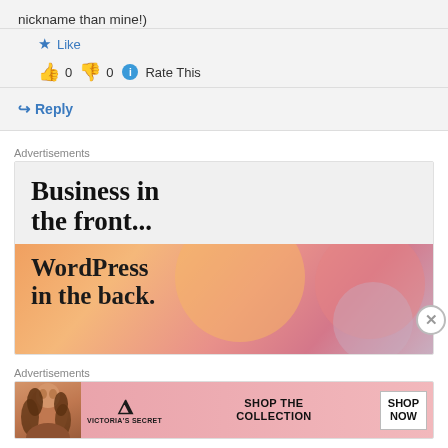nickname than mine!)
★ Like
👍 0 👎 0 ℹ Rate This
↳ Reply
Advertisements
[Figure (illustration): WordPress advertisement: 'Business in the front... WordPress in the back.' with gradient orange-pink background and decorative orbs.]
Advertisements
[Figure (illustration): Victoria's Secret advertisement with woman photo, VS logo, 'SHOP THE COLLECTION', and 'SHOP NOW' button on pink background.]